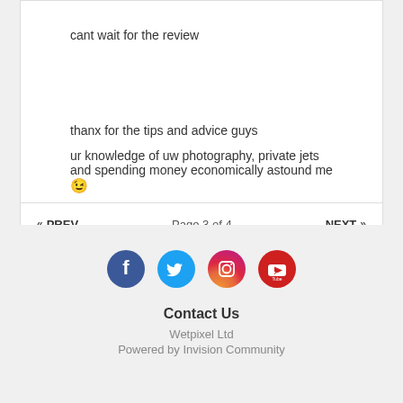cant wait for the review
thanx for the tips and advice guys
ur knowledge of uw photography, private jets and spending money economically astound me 😉
« PREV   Page 3 of 4   NEXT »
[Figure (infographic): Social media icons: Facebook, Twitter, Instagram, YouTube]
Contact Us
Wetpixel Ltd
Powered by Invision Community